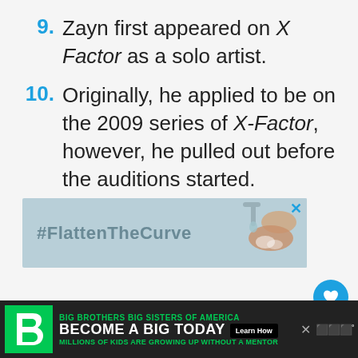9. Zayn first appeared on X Factor as a solo artist.
10. Originally, he applied to be on the 2009 series of X-Factor, however, he pulled out before the auditions started.
[Figure (photo): #FlattenTheCurve advertisement banner with faucet/handwashing image]
[Figure (other): Heart favorite button (circular blue)]
[Figure (other): Share button (circular white)]
[Figure (other): Bottom advertisement: Big Brothers Big Sisters - Millions of kids are growing up without a mentor. Become a Big Today. Learn How.]